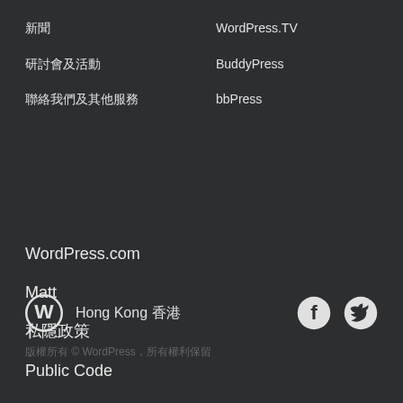新聞
WordPress.TV
研討會及活動
BuddyPress
聯絡我們及其他服務
bbPress
WordPress.com
Matt
私隱政策
Public Code
Hong Kong 香港
版權所有 © WordPress，所有權利保留